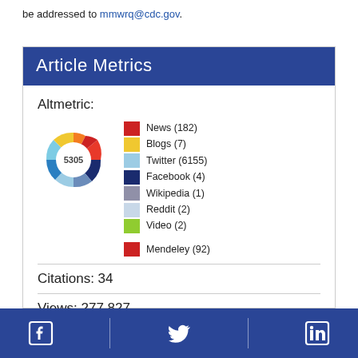be addressed to mmwrq@cdc.gov.
Article Metrics
Altmetric:
[Figure (infographic): Altmetric donut badge showing score 5305 with colored ring, alongside legend: News (182), Blogs (7), Twitter (6155), Facebook (4), Wikipedia (1), Reddit (2), Video (2), Mendeley (92)]
Citations: 34
Views: 277,827
Facebook | Twitter | LinkedIn